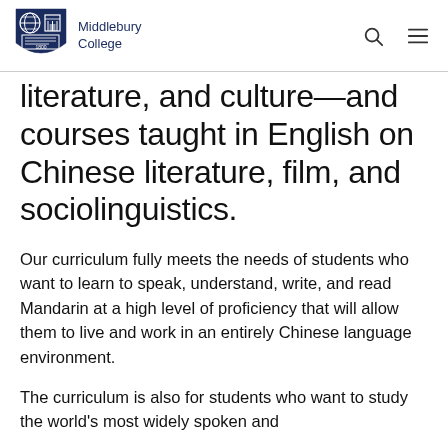Middlebury College
literature, and culture—and courses taught in English on Chinese literature, film, and sociolinguistics.
Our curriculum fully meets the needs of students who want to learn to speak, understand, write, and read Mandarin at a high level of proficiency that will allow them to live and work in an entirely Chinese language environment.
The curriculum is also for students who want to study the world's most widely spoken and